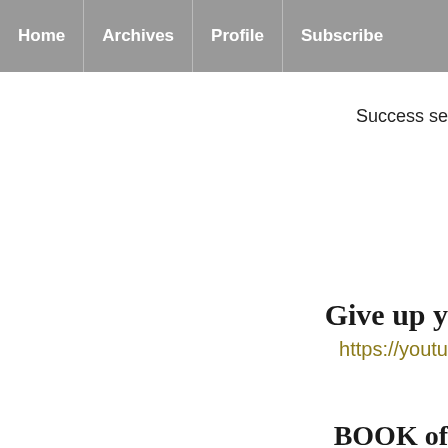Home | Archives | Profile | Subscribe
Success se
Give up y
https://youtu
BOOK of